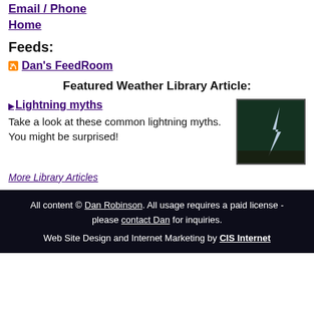Email / Phone
Home
Feeds:
Dan's FeedRoom
Featured Weather Library Article:
Lightning myths
Take a look at these common lightning myths. You might be surprised!
[Figure (photo): Dark green/black image showing lightning against a dark sky]
More Library Articles
All content © Dan Robinson. All usage requires a paid license - please contact Dan for inquiries.
Web Site Design and Internet Marketing by CIS Internet